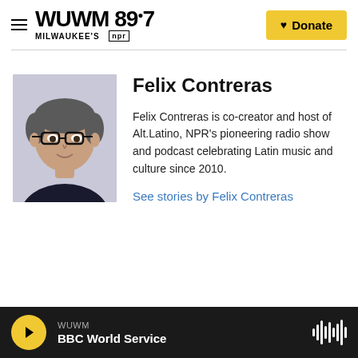WUWM 89.7 Milwaukee's NPR | Donate
[Figure (photo): Headshot photo of Felix Contreras, a man with gray hair wearing glasses and a dark shirt]
Felix Contreras
Felix Contreras is co-creator and host of Alt.Latino, NPR's pioneering radio show and podcast celebrating Latin music and culture since 2010.
See stories by Felix Contreras
WUWM BBC World Service